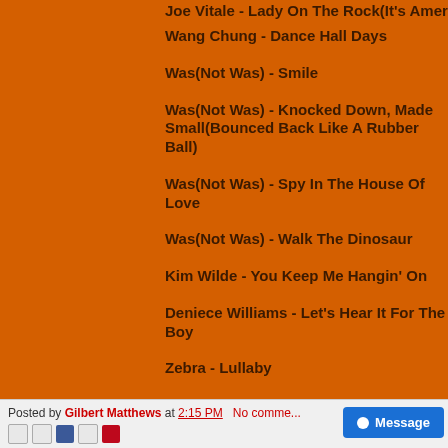Joe Vitale - Lady On The Rock(It's America)
Wang Chung - Dance Hall Days
Was(Not Was) - Smile
Was(Not Was) - Knocked Down, Made Small(Bounced Back Like A Rubber Ball)
Was(Not Was) - Spy In The House Of Love
Was(Not Was) - Walk The Dinosaur
Kim Wilde - You Keep Me Hangin' On
Deniece Williams - Let's Hear It For The Boy
Zebra - Lullaby
Posted by Gilbert Matthews at 2:15 PM   No comments: